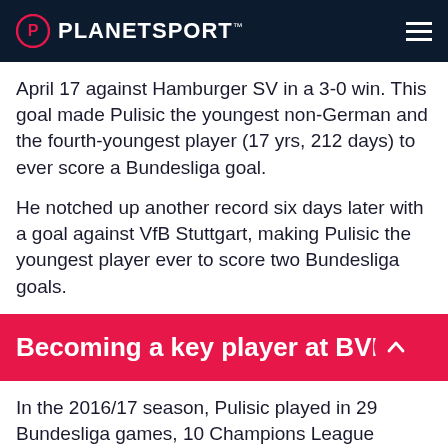PLANETSPORT
April 17 against Hamburger SV in a 3-0 win. This goal made Pulisic the youngest non-German and the fourth-youngest player (17 yrs, 212 days) to ever score a Bundesliga goal.
He notched up another record six days later with a goal against VfB Stuttgart, making Pulisic the youngest player ever to score two Bundesliga goals.
Becoming a key player at BVB
In the 2016/17 season, Pulisic played in 29 Bundesliga games, 10 Champions League fixtures, and four DFB-Pokal clashes for BVB. He started 22 of those games and tallied five goals and 10 assists.